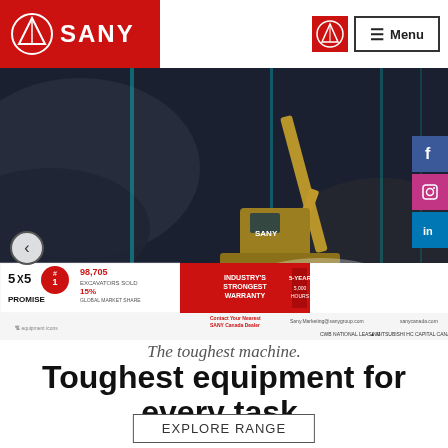[Figure (logo): SANY logo with triangle symbol on red background in header]
[Figure (screenshot): SANY Canada website hero section showing excavator in dark dramatic scene with 5x5 Promise banner, 98,705 excavators sold, 15% global market share, Industry's Strongest Warranty 5-year 5,000 hours, and financing partners CWB National Leasing, Mitsubishi HC Capital Canada, Meridian OneCap]
The toughest machine.
Toughest equipment for every task.
EXPLORE RANGE